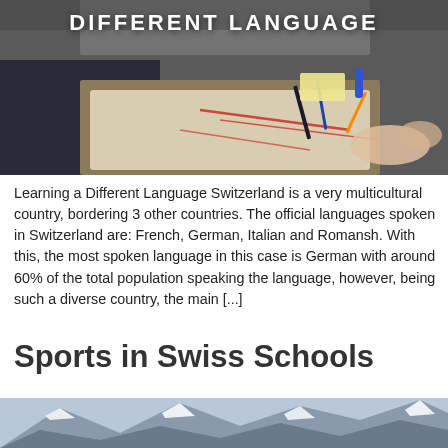[Figure (photo): Photo of people working on papers/blueprints on a desk with markers and pens, with bold white text 'DIFFERENT LANGUAGE' overlaid at the top]
Learning a Different Language Switzerland is a very multicultural country, bordering 3 other countries. The official languages spoken in Switzerland are: French, German, Italian and Romansh. With this, the most spoken language in this case is German with around 60% of the total population speaking the language, however, being such a diverse country, the main [...]
Sports in Swiss Schools
[Figure (photo): Photo of snow-capped Swiss Alps mountains]